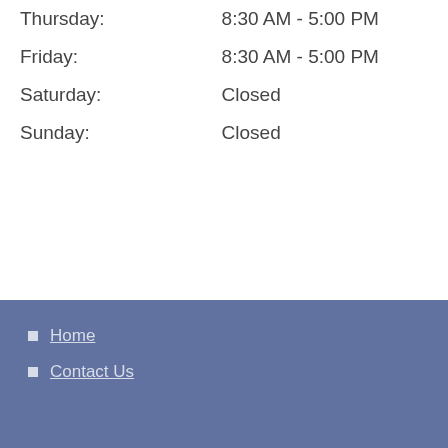| Thursday: | 8:30 AM - 5:00 PM |
| Friday: | 8:30 AM - 5:00 PM |
| Saturday: | Closed |
| Sunday: | Closed |
Home
Contact Us